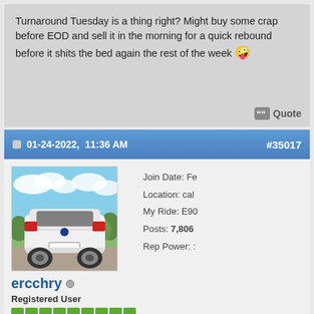Turnaround Tuesday is a thing right? Might buy some crap before EOD and sell it in the morning for a quick rebound before it shits the bed again the rest of the week 🤪
Quote
01-24-2022,  11:36 AM   #35017
[Figure (photo): Avatar photo of a white BMW car (rear view) parked outdoors with blue sky and trees]
ercchry
Registered User
Join Date: Fe
Location: cal
My Ride: E90
Posts: 7,806
Rep Power: :
Originally Posted by Disoblige
Turnaround Tuesday is a thing right? Might buy some crap before EOD and sell it in the